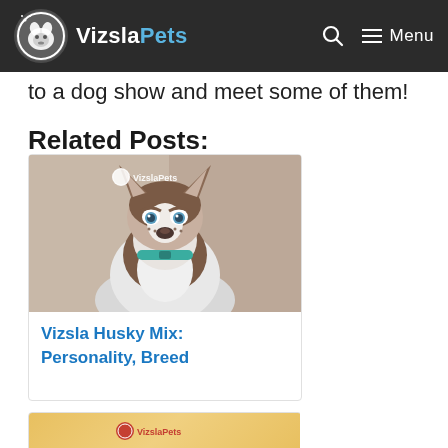VizslaPets — Menu
to a dog show and meet some of them!
Related Posts:
[Figure (photo): A Siberian Husky puppy with blue eyes, brown and white fur, wearing a teal collar, looking directly at camera. VizslaPets watermark visible.]
Vizsla Husky Mix: Personality, Breed
[Figure (photo): Partial view of another related post card showing a golden/yellow dog, with VizslaPets watermark.]